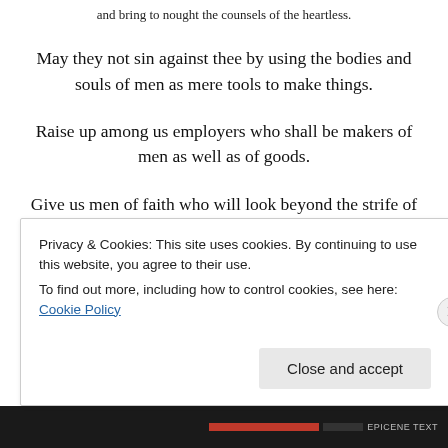and bring to nought the counsels of the heartless.
May they not sin against thee by using the bodies and souls of men as mere tools to make things.
Raise up among us employers who shall be makers of men as well as of goods.
Give us men of faith who will look beyond the strife of the
Privacy & Cookies: This site uses cookies. By continuing to use this website, you agree to their use.
To find out more, including how to control cookies, see here: Cookie Policy
Close and accept